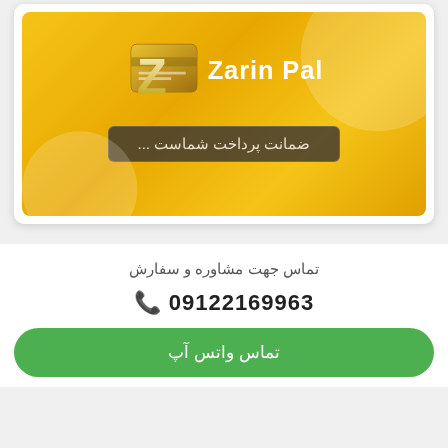[Figure (logo): ZarinPal payment gateway logo with golden background and Persian tagline: ضمانت پرداخت شماست...]
تماس جهت مشاوره و سفارش
📞 09122169963
تماس واتس آپ